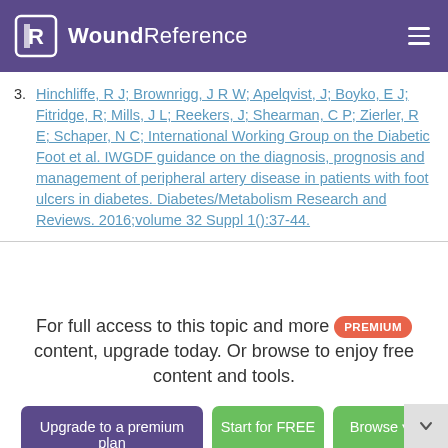WoundReference
3. Hinchliffe, R J; Brownrigg, J R W; Apelqvist, J; Boyko, E J; Fitridge, R; Mills, J L; Reekers, J; Shearman, C P; Zierler, R E; Schaper, N C; International Working Group on the Diabetic Foot et al. IWGDF guidance on the diagnosis, prognosis and management of peripheral artery disease in patients with foot ulcers in diabetes. Diabetes/Metabolism Research and Reviews. 2016;volume 32 Suppl 1():37-44.
For full access to this topic and more PREMIUM content, upgrade today. Or browse to enjoy free content and tools.
Upgrade to a premium plan
Start for FREE
Browse
Already a member? Sign in